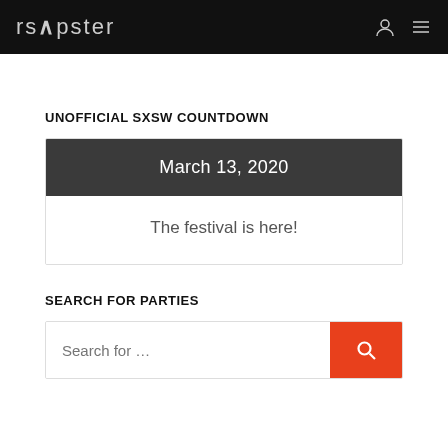rsapster
UNOFFICIAL SXSW COUNTDOWN
March 13, 2020
The festival is here!
SEARCH FOR PARTIES
Search for …